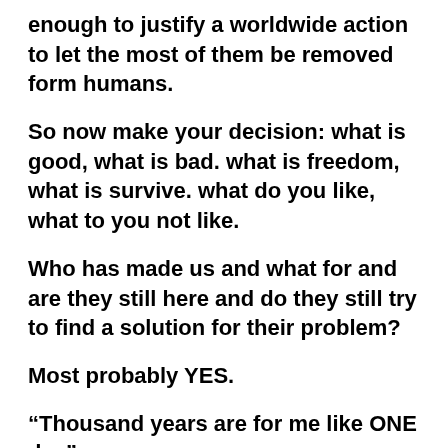enough to justify a worldwide action to let the most of them be removed form humans.
So now make your decision: what is good, what is bad. what is freedom, what is survive. what do you like, what to you not like.
Who has made us and what for and are they still here and do they still try to find a solution for their problem?
Most probably YES.
“Thousand years are for me like ONE day”